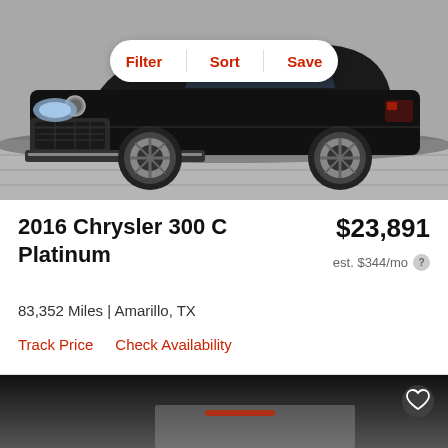[Figure (photo): Black 2016 Chrysler 300 C Platinum sedan photographed from front-left angle on a gray surface. Filter, Sort, and Save buttons appear as a white pill-shaped overlay at the top center.]
2016 Chrysler 300 C Platinum
$23,891
est. $344/mo
83,352 Miles | Amarillo, TX
Track Price   Check Availability
[Figure (photo): Partial view of another vehicle (dark/black car) shown at the bottom of the page, with a heart/favorite icon in the top-right corner of the image.]